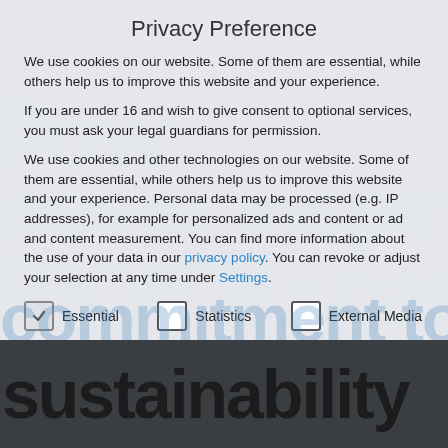Privacy Preference
We use cookies on our website. Some of them are essential, while others help us to improve this website and your experience.
If you are under 16 and wish to give consent to optional services, you must ask your legal guardians for permission.
We use cookies and other technologies on our website. Some of them are essential, while others help us to improve this website and your experience. Personal data may be processed (e.g. IP addresses), for example for personalized ads and content or ad and content measurement. You can find more information about the use of your data in our privacy policy. You can revoke or adjust your selection at any time under Settings.
Essential   Statistics   External Media
Accept all
commitment to sustainability